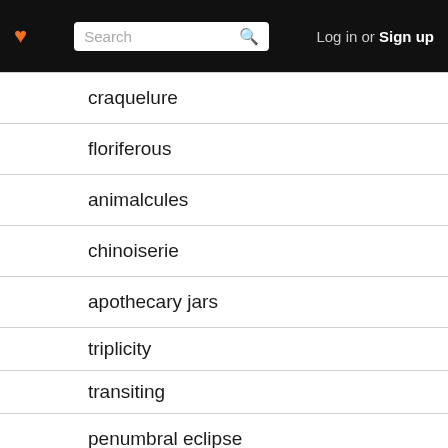Search | Log in or Sign up
craquelure
floriferous
animalcules
chinoiserie
apothecary jars
triplicity
transiting
penumbral eclipse
hollixed